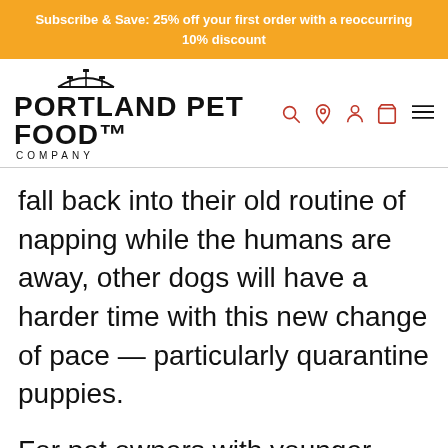Subscribe & Save: 25% off your first order with a reoccurring 10% discount
[Figure (logo): Portland Pet Food Company logo with bridge icon above text]
fall back into their old routine of napping while the humans are away, other dogs will have a harder time with this new change of pace — particularly quarantine puppies.
For pet owners with younger dogs or